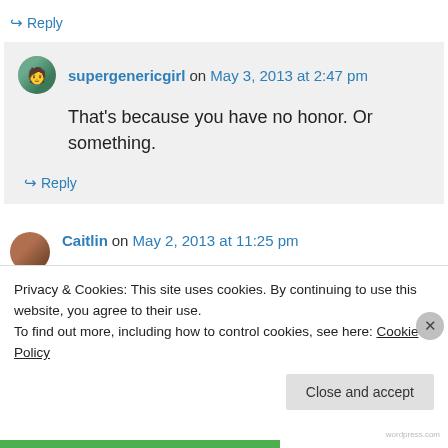↪ Reply
supergenericgirl on May 3, 2013 at 2:47 pm
That's because you have no honor. Or something.
↪ Reply
Caitlin on May 2, 2013 at 11:25 pm
Privacy & Cookies: This site uses cookies. By continuing to use this website, you agree to their use.
To find out more, including how to control cookies, see here: Cookie Policy
Close and accept